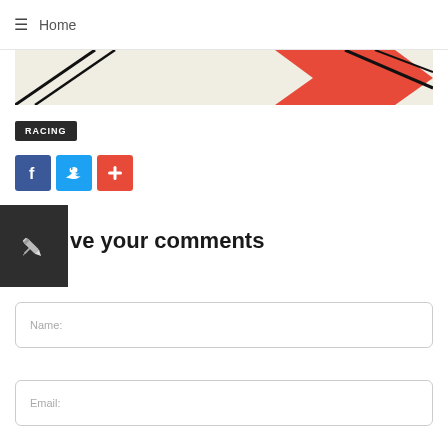≡ Home
[Figure (illustration): Racing graphic strip with black diagonal lines and orange/red arrow on cream background]
RACING
[Figure (infographic): Social share buttons: Facebook (blue, f), Twitter (light blue, bird), and a red plus button]
[Figure (illustration): Dark grey box with white pencil/edit icon]
ve your comments
Name:
Email: